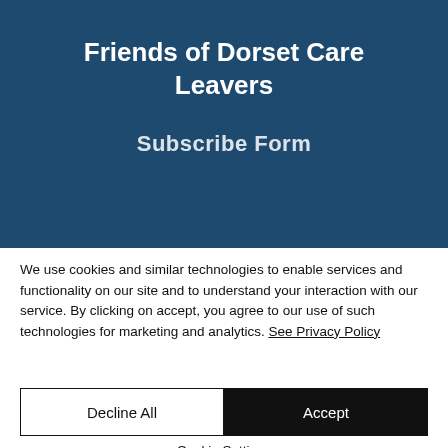Friends of Dorset Care Leavers
Subscribe Form
We use cookies and similar technologies to enable services and functionality on our site and to understand your interaction with our service. By clicking on accept, you agree to our use of such technologies for marketing and analytics. See Privacy Policy